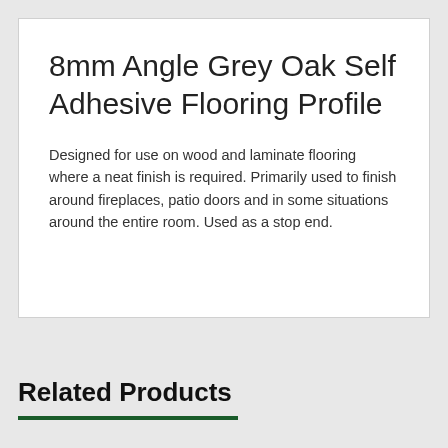8mm Angle Grey Oak Self Adhesive Flooring Profile
Designed for use on wood and laminate flooring where a neat finish is required. Primarily used to finish around fireplaces, patio doors and in some situations around the entire room. Used as a stop end.
Related Products